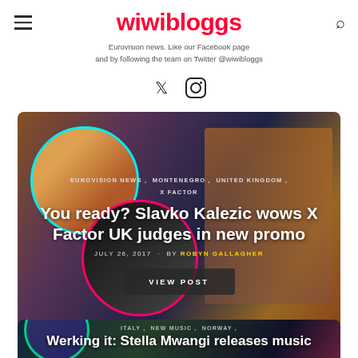wiwibloggs
Eurovision news. Like our Facebook page and by following the team on Twitter @wiwibloggs
[Figure (other): Twitter and Instagram social media icons]
[Figure (photo): Article card with background photo of X Factor judges and Slavko Kalezic. Categories: EUROVISION NEWS, MONTENEGRO, UNITED KINGDOM, X FACTOR. Title: You ready? Slavko Kalezic wows X Factor UK judges in new promo. Date: July 26, 2017. By Robyn Gallagher. VIEW POST button.]
[Figure (photo): Article card with background photo showing people performing. Categories: ITALY, NEW MUSIC, NORWAY. Title beginning: Werking it: Stella Mwangi releases music]